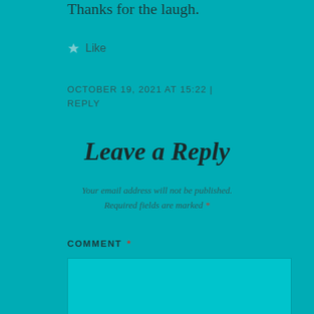Thanks for the laugh.
★ Like
OCTOBER 19, 2021 AT 15:22 | REPLY
Leave a Reply
Your email address will not be published. Required fields are marked *
COMMENT *